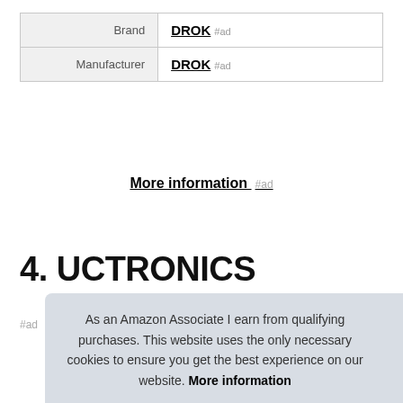|  |  |
| --- | --- |
| Brand | DROK #ad |
| Manufacturer | DROK #ad |
More information #ad
4. UCTRONICS
#ad
As an Amazon Associate I earn from qualifying purchases. This website uses the only necessary cookies to ensure you get the best experience on our website. More information